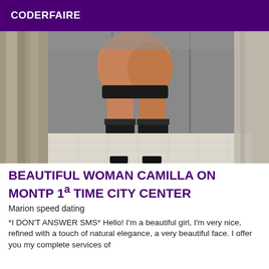CODERFAIRE
[Figure (photo): A person standing in a bathroom/shower area wearing black stockings and high heels, photographed from behind, partially cropped.]
BEAUTIFUL WOMAN CAMILLA ON MONTP 1ª TIME CITY CENTER
Marion speed dating
*I DON'T ANSWER SMS* Hello! I'm a beautiful girl, I'm very nice, refined with a touch of natural elegance, a very beautiful face. I offer you my complete services of